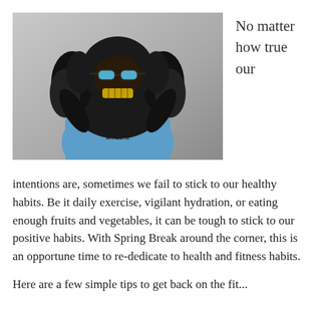[Figure (photo): A person wearing a gorilla costume with sunglasses and a blue t-shirt that reads 'NOT GUILTY ATHLETE', posed with arms raised.]
No matter how true our
intentions are, sometimes we fail to stick to our healthy habits. Be it daily exercise, vigilant hydration, or eating enough fruits and vegetables, it can be tough to stick to our positive habits. With Spring Break around the corner, this is an opportune time to re-dedicate to health and fitness habits.
Here are a few simple tips to get back on the fit...